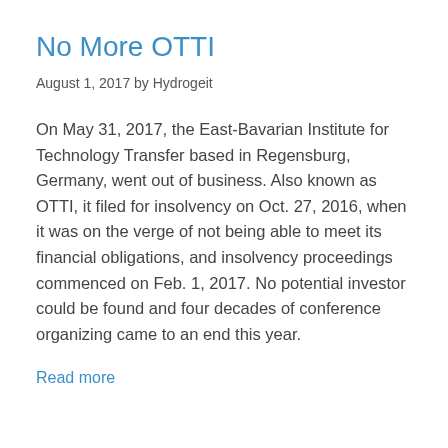No More OTTI
August 1, 2017 by Hydrogeit
On May 31, 2017, the East-Bavarian Institute for Technology Transfer based in Regensburg, Germany, went out of business. Also known as OTTI, it filed for insolvency on Oct. 27, 2016, when it was on the verge of not being able to meet its financial obligations, and insolvency proceedings commenced on Feb. 1, 2017. No potential investor could be found and four decades of conference organizing came to an end this year.
Read more